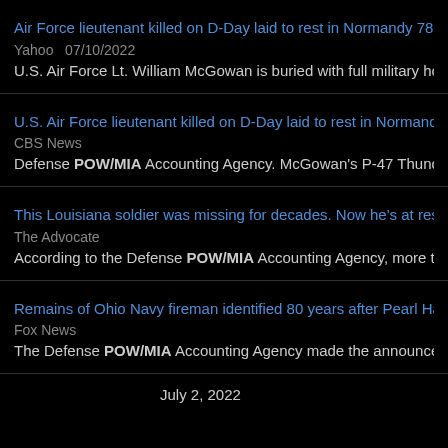Air Force lieutenant killed on D-Day laid to rest in Normandy 78 years later
Yahoo  07/10/2022
U.S. Air Force Lt. William McGowan is buried with full military honors at the
U.S. Air Force lieutenant killed on D-Day laid to rest in Normandy "with full
CBS News
Defense POW/MIA Accounting Agency. McGowan's P-47 Thunderbolt airc
This Louisiana soldier was missing for decades. Now he's at rest – and his
The Advocate
According to the Defense POW/MIA Accounting Agency, more than 7,500
Remains of Ohio Navy fireman identified 80 years after Pearl Harbor | Fox
Fox News
The Defense POW/MIA Accounting Agency made the announcement on F
July 2, 2022